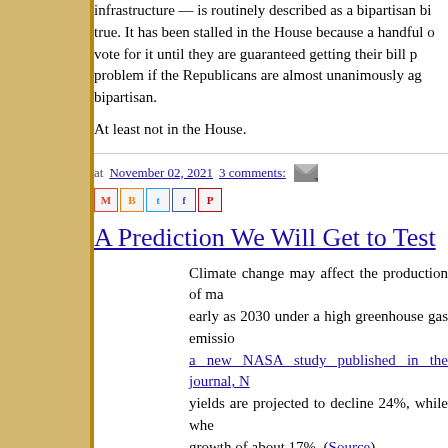infrastructure — is routinely described as a bipartisan b... true. It has been stalled in the House because a handful o... vote for it until they are guaranteed getting their bill p... problem if the Republicans are almost unanimously ag... bipartisan.
At least not in the House.
at November 02, 2021   3 comments:
A Prediction We Will Get to Test
Climate change may affect the production of ma... early as 2030 under a high greenhouse gas emissio... a new NASA study published in the journal, N... yields are projected to decline 24%, while whe... growth of about 17%. (Source)
Most projected effects of climate change are far enough... who made and trumpeted them will be dead, or at least ro...